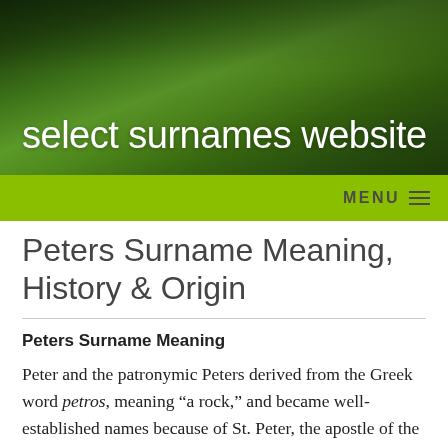select surnames website
Peters Surname Meaning, History & Origin
Peters Surname Meaning
Peter and the patronymic Peters derived from the Greek word petros, meaning “a rock,” and became well-established names because of St. Peter, the apostle of the New Testament. Petrie is a Scottish variant.